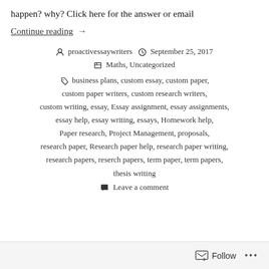happen? why? Click here for the answer or email
Continue reading →
proactivessaywriters  September 25, 2017  Maths, Uncategorized
business plans, custom essay, custom paper, custom paper writers, custom research writers, custom writing, essay, Essay assignment, essay assignments, essay help, essay writing, essays, Homework help, Paper research, Project Management, proposals, research paper, Research paper help, research paper writing, research papers, reserch papers, term paper, term papers, thesis writing
Leave a comment
Follow ...